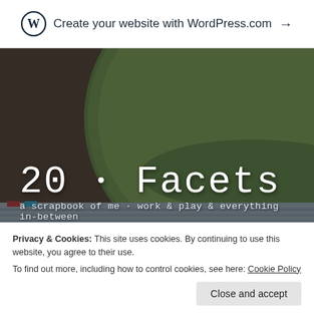Create your website with WordPress.com →
[Figure (photo): Hero image of a WordPress blog '20 · Facets' showing a green bowl above lined notebooks on a wooden surface, with dark overlay. Site title '20 · Facets' and subtitle 'a scrapbook of me · work & play & everything in-between' overlaid in white text. A Menu button at the bottom.]
20 · Facets
a scrapbook of me · work & play & everything in-between
Privacy & Cookies: This site uses cookies. By continuing to use this website, you agree to their use.
To find out more, including how to control cookies, see here: Cookie Policy
Close and accept